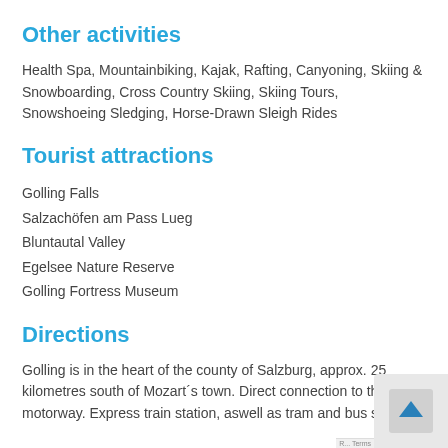Other activities
Health Spa, Mountainbiking, Kajak, Rafting, Canyoning, Skiing & Snowboarding, Cross Country Skiing, Skiing Tours, Snowshoeing Sledging, Horse-Drawn Sleigh Rides
Tourist attractions
Golling Falls
Salzachöfen am Pass Lueg
Bluntautal Valley
Egelsee Nature Reserve
Golling Fortress Museum
Directions
Golling is in the heart of the county of Salzburg, approx. 25 kilometres south of Mozart´s town. Direct connection to the motorway. Express train station, aswell as tram and bus sto